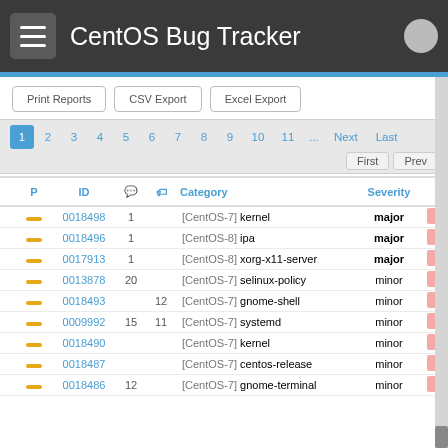CentOS Bug Tracker
Print Reports | CSV Export | Excel Export
Pagination: 1 2 3 4 5 6 7 8 9 10 11 ... Next Last / First Prev
|  | P | ID | 💬 | 🏷 | Category | Severity |  |
| --- | --- | --- | --- | --- | --- | --- | --- |
|  | — | 0018498 | 1 |  | [CentOS-7] kernel | major |  |
|  | — | 0018496 | 1 |  | [CentOS-8] ipa | major |  |
|  | — | 0017913 | 1 |  | [CentOS-8] xorg-x11-server | major |  |
|  | — | 0013878 | 20 |  | [CentOS-7] selinux-policy | minor |  |
|  | — | 0018493 |  | 12 | [CentOS-7] gnome-shell | minor |  |
|  | — | 0009992 | 15 | 11 | [CentOS-7] systemd | minor |  |
|  | — | 0018490 |  |  | [CentOS-7] kernel | minor |  |
|  | — | 0018487 |  |  | [CentOS-7] centos-release | minor |  |
|  | — | 0018486 | 12 |  | [CentOS-7] gnome-terminal | minor |  |